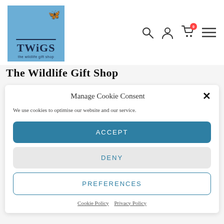[Figure (logo): TWiGS the wildlife gift shop logo — blue square with butterfly, white border]
The Wildlife Gift Shop
Manage Cookie Consent
We use cookies to optimise our website and our service.
ACCEPT
DENY
PREFERENCES
Cookie Policy  Privacy Policy